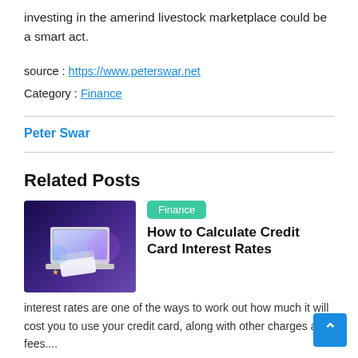investing in the amerind livestock marketplace could be a smart act.
source : https://www.peterswar.net
Category : Finance
Peter Swar
Related Posts
[Figure (photo): Thumbnail image showing a laptop with a credit card, set against a purple/dark background with glowing light effects]
Finance
How to Calculate Credit Card Interest Rates
interest rates are one of the ways to work out how much it will cost you to use your credit card, along with other charges and fees....